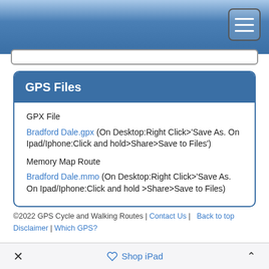GPS Cycle and Walking Routes navigation bar with hamburger menu
GPS Files
GPX File
Bradford Dale.gpx (On Desktop:Right Click>'Save As. On Ipad/Iphone:Click and hold>Share>Save to Files')
Memory Map Route
Bradford Dale.mmo (On Desktop:Right Click>'Save As. On Ipad/Iphone:Click and hold >Share>Save to Files)
©2022 GPS Cycle and Walking Routes | Contact Us | Back to top Disclaimer | Which GPS?
Shop iPad